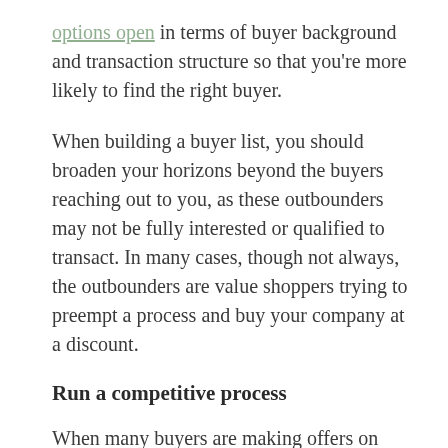options open in terms of buyer background and transaction structure so that you're more likely to find the right buyer.
When building a buyer list, you should broaden your horizons beyond the buyers reaching out to you, as these outbounders may not be fully interested or qualified to transact. In many cases, though not always, the outbounders are value shoppers trying to preempt a process and buy your company at a discount.
Run a competitive process
When many buyers are making offers on different terms, you can leverage the